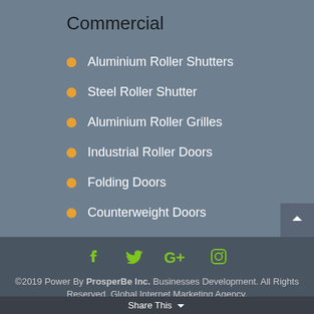Commercial
Aluminium Roller Shutters
Steel Roller Shutter
Aluminium Roller Grilles
Industrial Roller Doors
Folding Doors
Counterweight Doors
©2019 Power By ProsperBe Inc. Businesses Development. All Rights Reserved. Global Internet Marketing Agency.
Share This ×